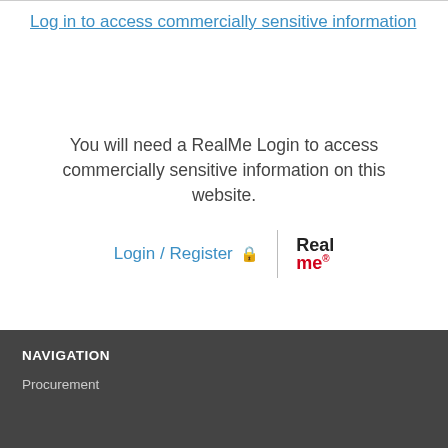Log in to access commercially sensitive information
You will need a RealMe Login to access commercially sensitive information on this website.
Login / Register
[Figure (logo): RealMe logo with 'Real' in black bold and 'me' in red bold with registered trademark dot]
NAVIGATION
Procurement